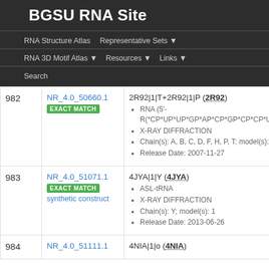BGSU RNA Site
RNA Structure Atlas | Representative Sets ▼ | RNA 3D Motif Atlas ▼ | Resources ▼ | Links ▼ | Search
| # | ID | Info |
| --- | --- | --- |
| 982 | NR_4.0_50660.1 EXACT MATCH | 2R92|1|T+2R92|1|P (2R92) • RNA (5'- R(*CP*UP*UP*GP*AP*CP*GP*CP*CP*U • X-RAY DIFFRACTION • Chain(s): A, B, C, D, F, H, P, T; model(s): • Release Date: 2007-11-27 |
| 983 | NR_4.0_51071.1 EXACT MATCH synthetic construct | 4JYA|1|Y (4JYA) • ASL-tRNA • X-RAY DIFFRACTION • Chain(s): Y; model(s): 1 • Release Date: 2013-06-26 |
| 984 | NR_4.0_51111.1 | 4NIA|1|o (4NIA) |